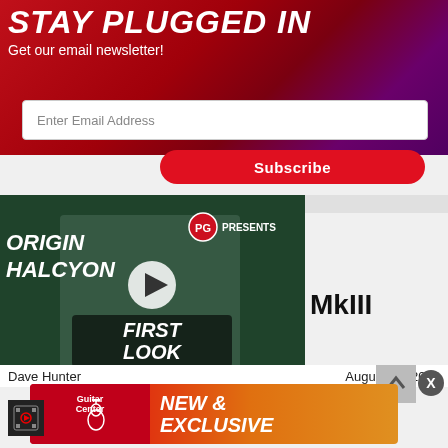STAY PLUGGED IN
Get our email newsletter!
Enter Email Address
Subscribe
[Figure (screenshot): Video thumbnail showing a man holding a guitar pedal. Text overlays read ORIGIN HALCYON on the left, PG PRESENTS in the upper right, and FIRST LOOK badge in the lower area. A play button is centered on the video.]
MkIII
Dave Hunter
August 23, 2022
[Figure (logo): Guitar Center advertisement banner with Guitar Center logo on red background on the left and NEW & EXCLUSIVE text in white italic bold on orange-red gradient background on the right.]